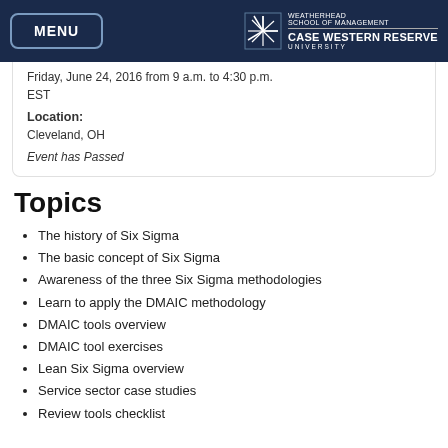MENU | WEATHERHEAD SCHOOL OF MANAGEMENT CASE WESTERN RESERVE UNIVERSITY
Friday, June 24, 2016 from 9 a.m. to 4:30 p.m.
EST
Location:
Cleveland, OH
Event has Passed
Topics
The history of Six Sigma
The basic concept of Six Sigma
Awareness of the three Six Sigma methodologies
Learn to apply the DMAIC methodology
DMAIC tools overview
DMAIC tool exercises
Lean Six Sigma overview
Service sector case studies
Review tools checklist